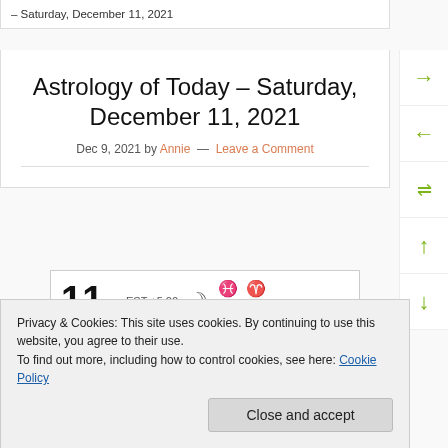– Saturday, December 11, 2021
Astrology of Today – Saturday, December 11, 2021
Dec 9, 2021 by Annie — Leave a Comment
[Figure (other): Astrology calendar entry for day 11 showing EST +5:00, moon symbol, Pisces/Aries signs, Ing 4:45p, v/c 2:39p]
Privacy & Cookies: This site uses cookies. By continuing to use this website, you agree to their use.
To find out more, including how to control cookies, see here: Cookie Policy
Close and accept